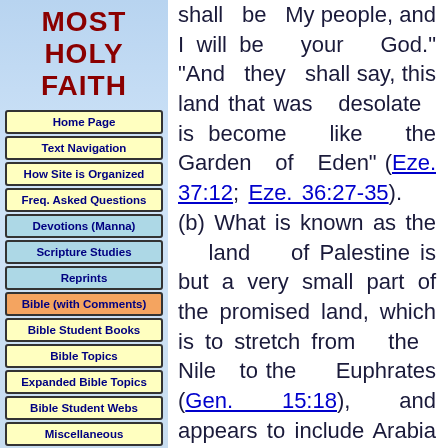MOST HOLY FAITH
Home Page
Text Navigation
How Site is Organized
Freq. Asked Questions
Devotions (Manna)
Scripture Studies
Reprints
Bible (with Comments)
Bible Student Books
Bible Topics
Expanded Bible Topics
Bible Student Webs
Miscellaneous
shall be My people, and I will be your God." "And they shall say, this land that was desolate is become like the Garden of Eden" (Eze. 37:12; Eze. 36:27-35). (b) What is known as the land of Palestine is but a very small part of the promised land, which is to stretch from the Nile to the Euphrates (Gen. 15:18), and appears to include Arabia as well as